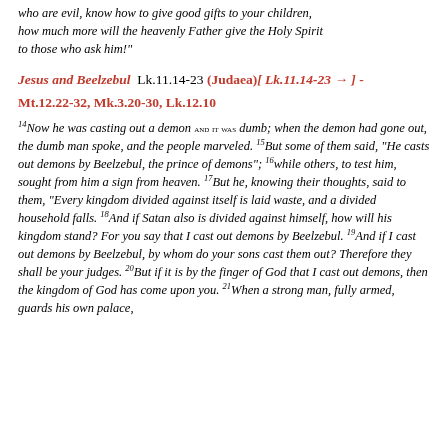who are evil, know how to give good gifts to your children, how much more will the heavenly Father give the Holy Spirit to those who ask him!"
Jesus and Beelzebul  Lk.11.14-23 (Judaea)[ Lk.11.14-23 → ] - Mt.12.22-32, Mk.3.20-30, Lk.12.10
14Now he was casting out a demon and it was dumb; when the demon had gone out, the dumb man spoke, and the people marveled. 15But some of them said, "He casts out demons by Beelzebul, the prince of demons"; 16while others, to test him, sought from him a sign from heaven. 17But he, knowing their thoughts, said to them, "Every kingdom divided against itself is laid waste, and a divided household falls. 18And if Satan also is divided against himself, how will his kingdom stand? For you say that I cast out demons by Beelzebul. 19And if I cast out demons by Beelzebul, by whom do your sons cast them out? Therefore they shall be your judges. 20But if it is by the finger of God that I cast out demons, then the kingdom of God has come upon you. 21When a strong man, fully armed, guards his own palace, his goods are in peace. 22but when one stronger than he assails him